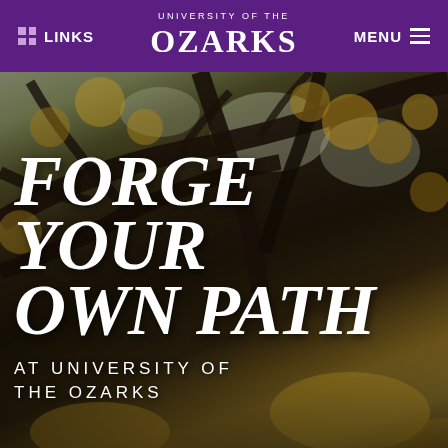LINKS | UNIVERSITY OF THE OZARKS | MENU
[Figure (photo): Background photo looking up through tree branches with golden/autumn foliage against a light sky. Dark tree branches criss-cross throughout the image.]
FORGE YOUR OWN PATH
AT UNIVERSITY OF THE OZARKS